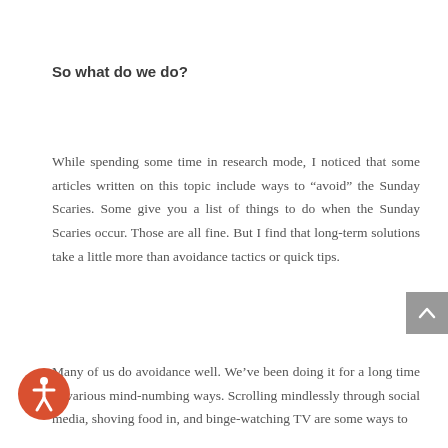So what do we do?
While spending some time in research mode, I noticed that some articles written on this topic include ways to “avoid” the Sunday Scaries. Some give you a list of things to do when the Sunday Scaries occur. Those are all fine. But I find that long-term solutions take a little more than avoidance tactics or quick tips.
Many of us do avoidance well. We’ve been doing it for a long time in various mind-numbing ways. Scrolling mindlessly through social media, shoving food in, and binge-watching TV are some ways to